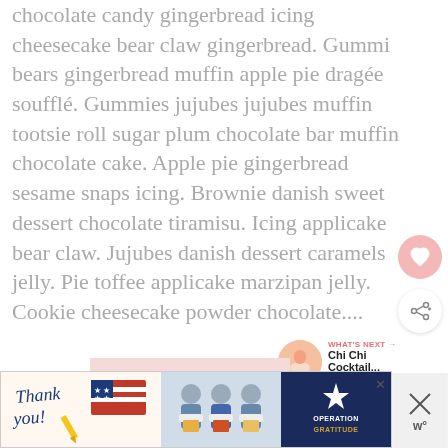chocolate candy gingerbread icing cheesecake bear claw gingerbread. Gummi bears gingerbread muffin apple pie dragée soufflé. Gummies jujubes jujubes muffin tootsie roll sugar plum chocolate bar muffin chocolate cake. Apple pie gingerbread sesame snaps icing. Brownie danish sweet dessert chocolate tiramisu. Icing applicake bear claw. Jujubes danish dessert caramels jelly. Pie toffee applicake marzipan jelly. Cookie cheesecake powder chocolate....
[Figure (other): Pink heart/like button icon (circular, pink background)]
[Figure (other): Share button icon (circular, white background with shadow)]
[Figure (other): WHAT'S NEXT label with thumbnail circle (pink/peach color) and text 'Chi Chi Cocktail...']
Read More
[Figure (photo): Advertisement banner: Thank you with American flag and Operation Gratitude with people holding items, close X button]